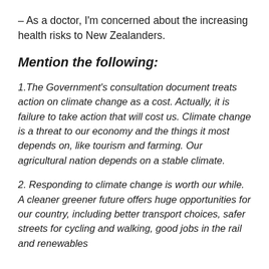– As a doctor, I'm concerned about the increasing health risks to New Zealanders.
Mention the following:
1.The Government's consultation document treats action on climate change as a cost. Actually, it is failure to take action that will cost us. Climate change is a threat to our economy and the things it most depends on, like tourism and farming. Our agricultural nation depends on a stable climate.
2. Responding to climate change is worth our while. A cleaner greener future offers huge opportunities for our country, including better transport choices, safer streets for cycling and walking, good jobs in the rail and renewables